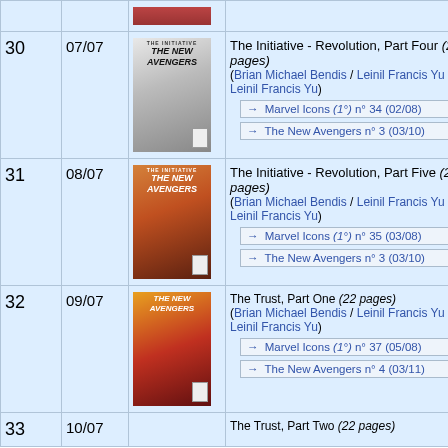| # | Date | Cover | Description |
| --- | --- | --- | --- |
| 30 | 07/07 | [New Avengers cover] | The Initiative - Revolution, Part Four (22 pages)
(Brian Michael Bendis / Leinil Francis Yu / Leinil Francis Yu)
→ Marvel Icons (1°) n° 34 (02/08)
→ The New Avengers n° 3 (03/10) |
| 31 | 08/07 | [New Avengers cover] | The Initiative - Revolution, Part Five (22 pages)
(Brian Michael Bendis / Leinil Francis Yu / Leinil Francis Yu)
→ Marvel Icons (1°) n° 35 (03/08)
→ The New Avengers n° 3 (03/10) |
| 32 | 09/07 | [New Avengers cover] | The Trust, Part One (22 pages)
(Brian Michael Bendis / Leinil Francis Yu / Leinil Francis Yu)
→ Marvel Icons (1°) n° 37 (05/08)
→ The New Avengers n° 4 (03/11) |
| 33 | 10/07 |  | The Trust, Part Two (22 pages) |